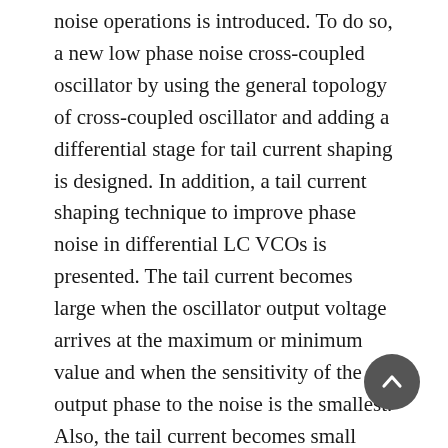noise operations is introduced. To do so, a new low phase noise cross-coupled oscillator by using the general topology of cross-coupled oscillator and adding a differential stage for tail current shaping is designed. In addition, a tail current shaping technique to improve phase noise in differential LC VCOs is presented. The tail current becomes large when the oscillator output voltage arrives at the maximum or minimum value and when the sensitivity of the output phase to the noise is the smallest. Also, the tail current becomes small when the phase noise sensitivity is large. The proposed circuit does not use extra power and extra noisy active devices. Furthermore, this topology occupies small area. Simulation results show the improvement in phase noise by 2.5dB under the same conditions and at the carrier frequency of 1 GHz for GSM applications. The power consumption of the